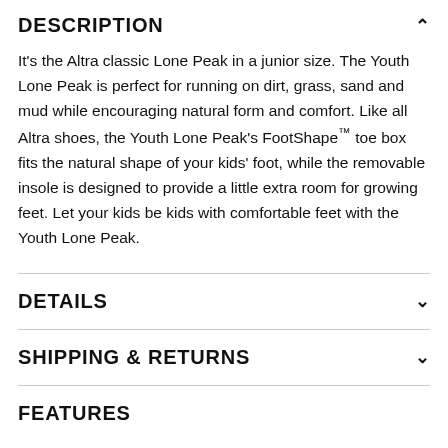DESCRIPTION
It's the Altra classic Lone Peak in a junior size. The Youth Lone Peak is perfect for running on dirt, grass, sand and mud while encouraging natural form and comfort. Like all Altra shoes, the Youth Lone Peak's FootShape™ toe box fits the natural shape of your kids' foot, while the removable insole is designed to provide a little extra room for growing feet. Let your kids be kids with comfortable feet with the Youth Lone Peak.
DETAILS
SHIPPING & RETURNS
FEATURES